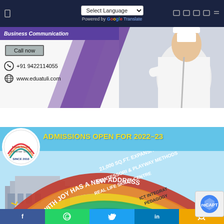Select Language | Powered by Google Translate
[Figure (advertisement): Business Communication ad banner with chef image, Call now button, phone +91 9422114055, website www.eduatuli.com]
[Figure (advertisement): Little Jewels school admissions open for 2022-23 banner with rainbow arc showing: 21,000 SQ.FT. EXPANSIVE CAMPUS, MONTESSORI & PLAYWAY METHODS, REAL LIFE SKILLS CENTRE, ICT INTEGRATED PEDAGOGY, LEARNING WITH JOY HAS A NEW ADDRESS]
Facebook | WhatsApp | Twitter | LinkedIn | Link